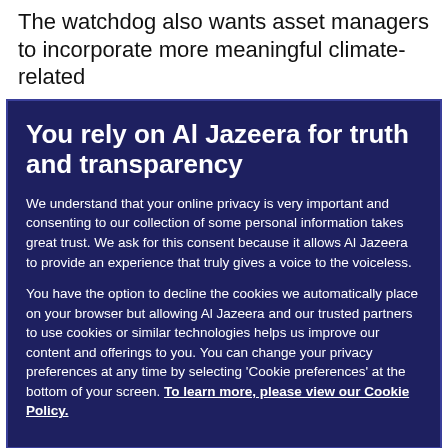The watchdog also wants asset managers to incorporate more meaningful climate-related
You rely on Al Jazeera for truth and transparency
We understand that your online privacy is very important and consenting to our collection of some personal information takes great trust. We ask for this consent because it allows Al Jazeera to provide an experience that truly gives a voice to the voiceless.
You have the option to decline the cookies we automatically place on your browser but allowing Al Jazeera and our trusted partners to use cookies or similar technologies helps us improve our content and offerings to you. You can change your privacy preferences at any time by selecting ‘Cookie preferences’ at the bottom of your screen. To learn more, please view our Cookie Policy.